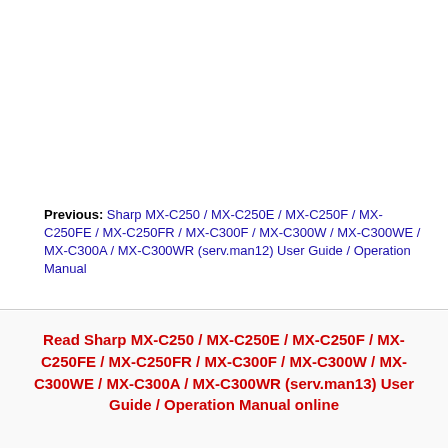Previous: Sharp MX-C250 / MX-C250E / MX-C250F / MX-C250FE / MX-C250FR / MX-C300F / MX-C300W / MX-C300WE / MX-C300A / MX-C300WR (serv.man12) User Guide / Operation Manual
Read Sharp MX-C250 / MX-C250E / MX-C250F / MX-C250FE / MX-C250FR / MX-C300F / MX-C300W / MX-C300WE / MX-C300A / MX-C300WR (serv.man13) User Guide / Operation Manual online